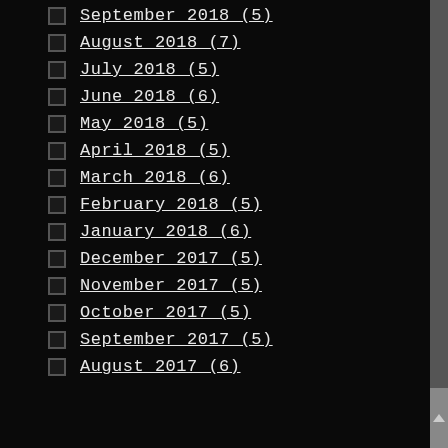September 2018 (5)
August 2018 (7)
July 2018 (5)
June 2018 (6)
May 2018 (5)
April 2018 (5)
March 2018 (6)
February 2018 (5)
January 2018 (6)
December 2017 (5)
November 2017 (5)
October 2017 (5)
September 2017 (5)
August 2017 (6)